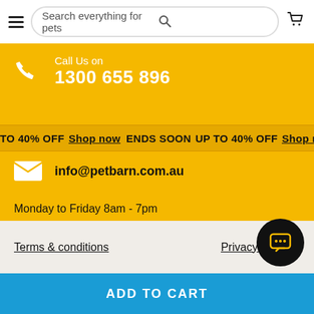Search everything for pets
Call Us on
1300 655 896
ENDS SOON UP TO 40% OFF  Shop now  ENDS SOON  UP TO 40% OFF  Shop now
info@petbarn.com.au
Monday to Friday 8am - 7pm
Saturday & Sunday 9am-5pm
Closed on Public Holidays.
AEST/AEDT
Terms & conditions    Privacy policy    ADD TO CART